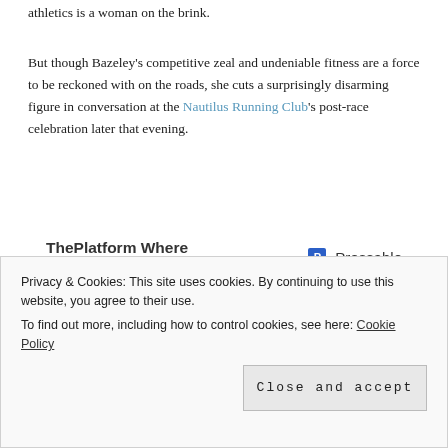athletics is a woman on the brink.
But though Bazeley’s competitive zeal and undeniable fitness are a force to be reckoned with on the roads, she cuts a surprisingly disarming figure in conversation at the Nautilus Running Club’s post-race celebration later that evening.
[Figure (other): Advertisement banner: ThePlatform Where WordPress Works Best | Pressable]
REPORT THIS AD
There are the prints of Bianca Bazeley that...
Privacy & Cookies: This site uses cookies. By continuing to use this website, you agree to their use.
To find out more, including how to control cookies, see here: Cookie Policy
Close and accept